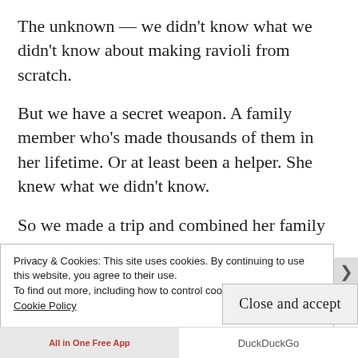The unknown — we didn't know what we didn't know about making ravioli from scratch.
But we have a secret weapon. A family member who's made thousands of them in her lifetime. Or at least been a helper. She knew what we didn't know.
So we made a trip and combined her family recipe with our new pasta roller attachment.  I failed to get many pictures of the process and the finished product but we did bring some home, so I'll do better when we eat the
Privacy & Cookies: This site uses cookies. By continuing to use this website, you agree to their use.
To find out more, including how to control cookies, see here:
Cookie Policy
Close and accept